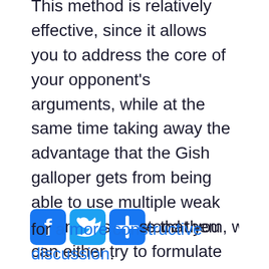This method is relatively effective, since it allows you to address the core of your opponent's arguments, while at the same time taking away the advantage that the Gish galloper gets from being able to use multiple weak arguments. Note that you can either try to formulate your opponent's theme for them, or ask them to do it for you. Asking your opponent to explain their overall theme can be especially beneficial, since it makes it harder for them to claim that you misunderstood them, while also allowing for a more constructive discussion.
[Figure (other): Social sharing icons: Facebook, Twitter, and a share/plus button]